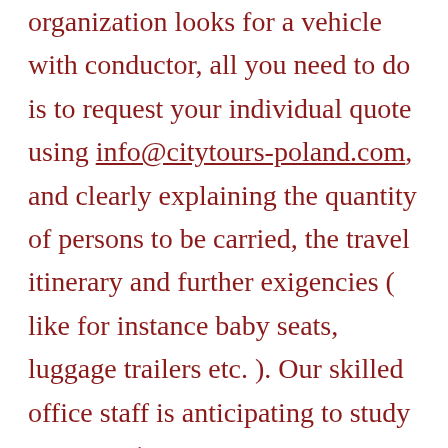organization looks for a vehicle with conductor, all you need to do is to request your individual quote using info@citytours-poland.com, and clearly explaining the quantity of persons to be carried, the travel itinerary and further exigencies ( like for instance baby seats, luggage trailers etc. ). Our skilled office staff is anticipating to study your requirements.
Immediately upon placing your